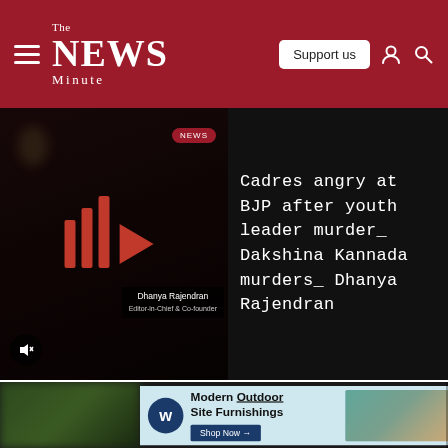The News Minute — Support us
[Figure (screenshot): Video player showing a woman with red play bars overlaid, sidebar headline text about BJP cadres angry after youth leader murder in Dakshina Kannada, reported by Dhanya Rajendran]
The clash broke out between CPI(M) and IUML in Koothuparamba constituency over allegations of bogus voting.
[Figure (photo): Advertisement banner for Modern Outdoor Site Furnishings with Shop Now button, overlaid on blurred outdoor photo]